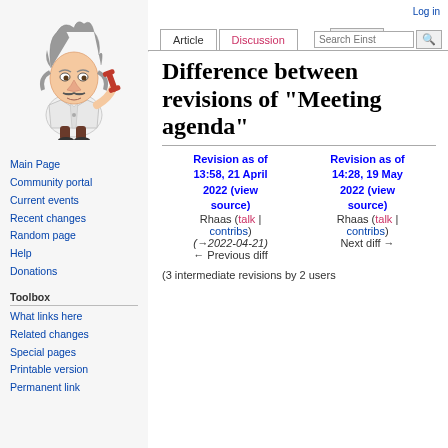[Figure (illustration): Einstein cartoon mascot with wild hair, lab coat, and wrench]
Main Page
Community portal
Current events
Recent changes
Random page
Help
Donations
Toolbox
What links here
Related changes
Special pages
Printable version
Permanent link
Log in
Difference between revisions of "Meeting agenda"
| Revision as of 13:58, 21 April 2022 (view source) | Revision as of 14:28, 19 May 2022 (view source) |
| --- | --- |
| Rhaas (talk | contribs) | Rhaas (talk | contribs) |
| (→2022-04-21) | Next diff → |
| ← Previous diff |  |
(3 intermediate revisions by 2 users